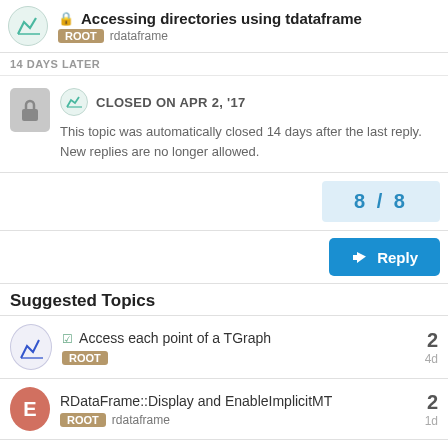🔒 Accessing directories using tdataframe | ROOT rdataframe
14 DAYS LATER
CLOSED ON APR 2, '17
This topic was automatically closed 14 days after the last reply. New replies are no longer allowed.
8 / 8
Reply
Suggested Topics
✓ Access each point of a TGraph
ROOT
2
4d
RDataFrame::Display and EnableImplicitMT
ROOT rdataframe
2
1d